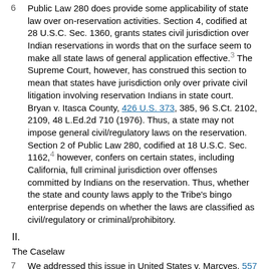6  Public Law 280 does provide some applicability of state law over on-reservation activities. Section 4, codified at 28 U.S.C. Sec. 1360, grants states civil jurisdiction over Indian reservations in words that on the surface seem to make all state laws of general application effective.3 The Supreme Court, however, has construed this section to mean that states have jurisdiction only over private civil litigation involving reservation Indians in state court. Bryan v. Itasca County, 426 U.S. 373, 385, 96 S.Ct. 2102, 2109, 48 L.Ed.2d 710 (1976). Thus, a state may not impose general civil/regulatory laws on the reservation. Section 2 of Public Law 280, codified at 18 U.S.C. Sec. 1162,4 however, confers on certain states, including California, full criminal jurisdiction over offenses committed by Indians on the reservation. Thus, whether the state and county laws apply to the Tribe's bingo enterprise depends on whether the laws are classified as civil/regulatory or criminal/prohibitory.
II.
The Caselaw
7  We addressed this issue in United States v. Marcyes, 557 F.2d 1361 (9th Cir.1977). In that case, members of the Puyallup Indian